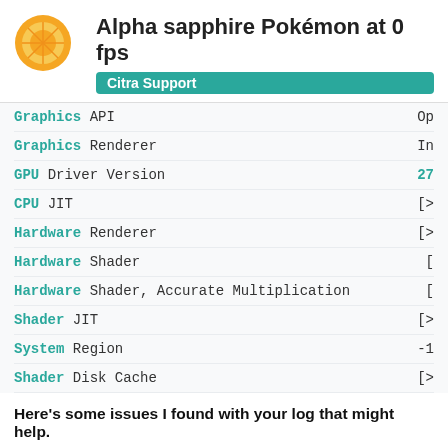Alpha sapphire Pokémon at 0 fps
Citra Support
| Key | Value |
| --- | --- |
| Graphics API | Op... |
| Graphics Renderer | In... |
| GPU Driver Version | 27... |
| CPU JIT | [>... |
| Hardware Renderer | [>... |
| Hardware Shader | [... |
| Hardware Shader, Accurate Multiplication | [... |
| Shader JIT | [>... |
| System Region | -1... |
| Shader Disk Cache | [>... |
Here's some issues I found with your log that might help.
You are running out of date drivers for your GPU. You need to install the most recent driver for your graphics card from Intel's website. Support for Intel® Graphics 1
Enabling Accurate Multiplication is recomended in certain games. If you are experiencing graph... enabling this option.
21 / 29